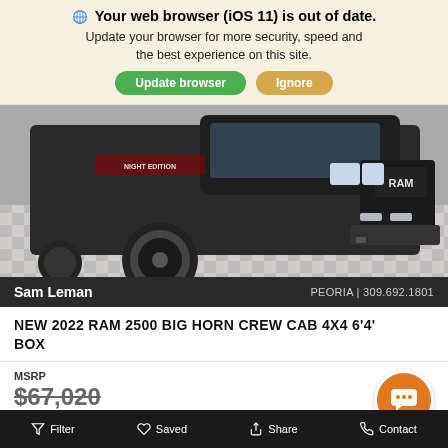Your web browser (iOS 11) is out of date. Update your browser for more security, speed and the best experience on this site. Update browser | Ignore
[Figure (photo): Front 3/4 view of a black 2022 Ram 2500 Big Horn pickup truck on a checkered floor showroom]
Sam Leman    PEORIA | 309.692.1801
NEW 2022 RAM 2500 BIG HORN CREW CAB 4X4 6'4' BOX
MSRP
$67,020
Filter   Saved   Share   Contact